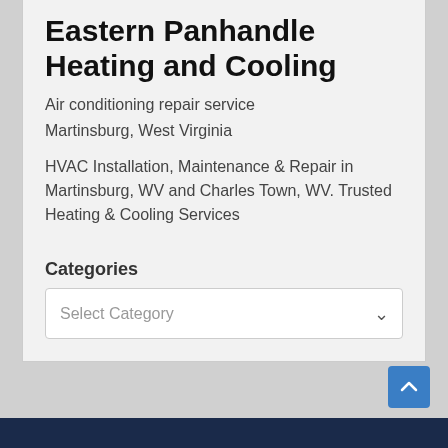Eastern Panhandle Heating and Cooling
Air conditioning repair service
Martinsburg, West Virginia
HVAC Installation, Maintenance & Repair in Martinsburg, WV and Charles Town, WV. Trusted Heating & Cooling Services
Categories
Select Category